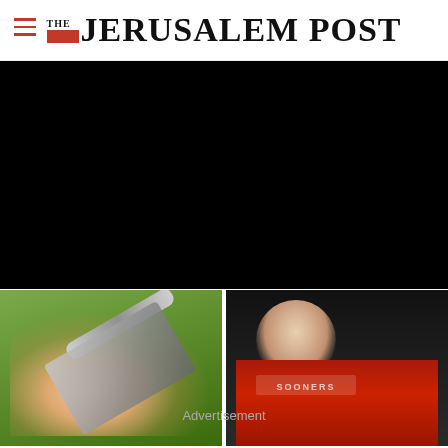THE JERUSALEM POST
[Figure (screenshot): Black video player area]
[Figure (photo): Close-up of a hand holding a pen-like medical device (insulin pen or similar) against a green outdoor background]
[Figure (photo): Football player in red Oklahoma Sooners uniform posing with a trophy against a dark background]
Advertisement